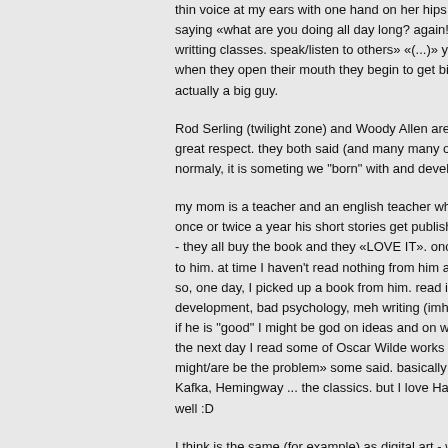thin voice at my ears with one hand on her hips and other waving like saying «what are you doing all day long? again! reading», «go do so writting classes. speak/listen to others» «(...)» you guys get the pictu when they open their mouth they begin to get bigger and bigger - it's actually a big guy.
Rod Serling (twilight zone) and Woody Allen are two tremendous ind great respect. they both said (and many many others): writing and cr normaly, it is someting we "born" with and develops through years ar
my mom is a teacher and an english teacher who is a really good frie once or twice a year his short stories get published. all the teachers, - they all buy the book and they «LOVE IT». once, my mom told me t to him. at time I haven't read nothing from him and was quite on a fe so, one day, I picked up a book from him. read it all. hated the whole development, bad psychology, meh writing (imho), obvious twists an if he is "good" I might be god on ideas and on writing. I'll be one of th the next day I read some of Oscar Wilde works and I root my feet on might/are be the problem» some said. basically because I'm used to Kafka, Hemingway ... the classics. but I love Harry Potter, Game of T well :D
I think is the same (for example) as digital art - which I also love. btw da.deviantart.com/gallery/ my folio (people might get curious, or not). the artist, or, the majority of artists either in digital art or writers who a move, smell, talk, draw, write, think alike (between 3/4 stereotypes).